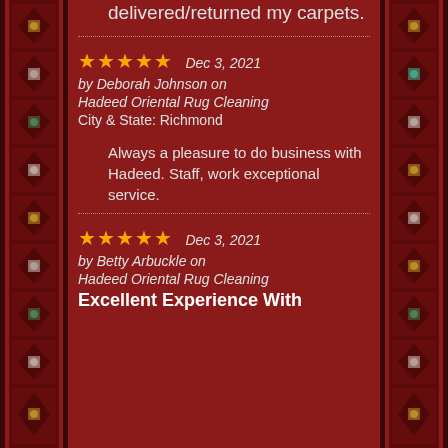delivered/returned my carpets.
★★★★★  Dec 3, 2021
by Deborah Johnson on
Hadeed Oriental Rug Cleaning
City & State: Richmond
Always a pleasure to do business with Hadeed. Staff, work exceptional service.
★★★★★  Dec 3, 2021
by Betty Arbuckle on
Hadeed Oriental Rug Cleaning
Excellent Experience With